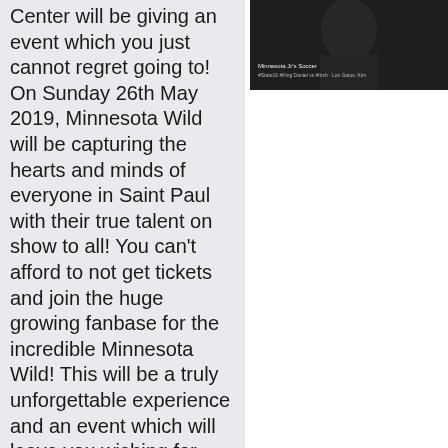Center will be giving an event which you just cannot regret going to! On Sunday 26th May 2019, Minnesota Wild will be capturing the hearts and minds of everyone in Saint Paul with their true talent on show to all! You can't afford to not get tickets and join the huge growing fanbase for the incredible Minnesota Wild! This will be a truly unforgettable experience and an event which will leave you wishing for that encore! Tickets
[Figure (photo): Dark photograph of a person, likely a musician or performer, with overlaid text reading 'Minnesota Jr's Soccer' and additional small text below.]